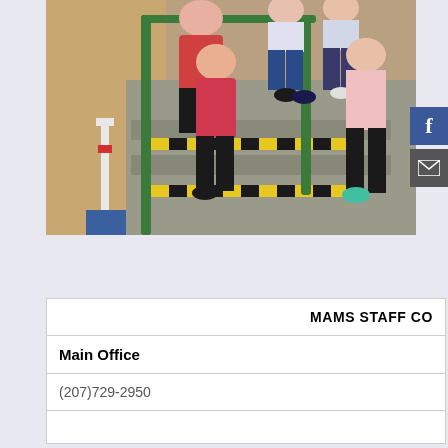[Figure (photo): Group of people standing on outdoor stairs with green metal railings and yellow-black hazard tape on the steps, viewed from below. The background shows a tan/brown wall. Social media icons (Facebook, email) are overlaid on the right edge.]
| MAMS STAFF CO |
| --- |
| Main Office |
| (207)729-2950 |
|  |